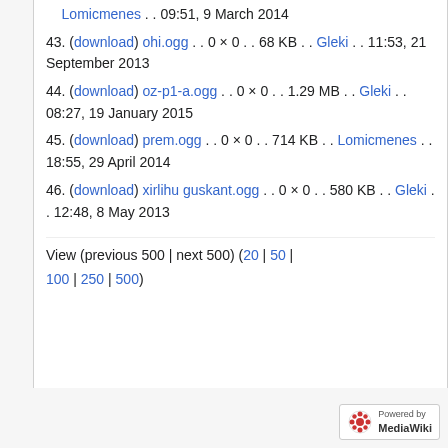Lomicmenes . . 09:51, 9 March 2014
43. (download) ohi.ogg . . 0 × 0 . . 68 KB . . Gleki . . 11:53, 21 September 2013
44. (download) oz-p1-a.ogg . . 0 × 0 . . 1.29 MB . . Gleki . . 08:27, 19 January 2015
45. (download) prem.ogg . . 0 × 0 . . 714 KB . . Lomicmenes . . 18:55, 29 April 2014
46. (download) xirlihu guskant.ogg . . 0 × 0 . . 580 KB . . Gleki . . 12:48, 8 May 2013
View (previous 500 | next 500) (20 | 50 | 100 | 250 | 500)